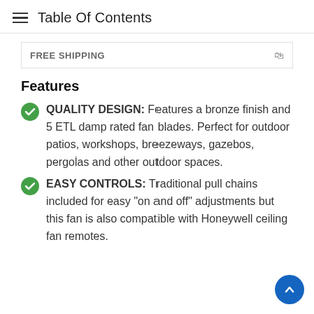Table Of Contents
FREE SHIPPING
Features
QUALITY DESIGN: Features a bronze finish and 5 ETL damp rated fan blades. Perfect for outdoor patios, workshops, breezeways, gazebos, pergolas and other outdoor spaces.
EASY CONTROLS: Traditional pull chains included for easy "on and off" adjustments but this fan is also compatible with Honeywell ceiling fan remotes.